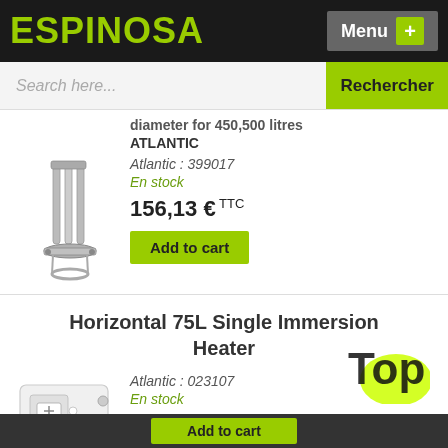ESPINOSA  Menu +
Search here...  Rechercher
diameter for 450,500 litres ATLANTIC
[Figure (photo): Immersion heater element, tubular spiral design with flange base]
Atlantic : 399017
En stock
156,13 € TTC
Add to cart
Horizontal 75L Single Immersion Heater
[Figure (photo): Horizontal water heater / immersion heater unit, white rectangular box with thermostat dial]
Atlantic : 023107
En stock
439,14 € TTC
Add to cart